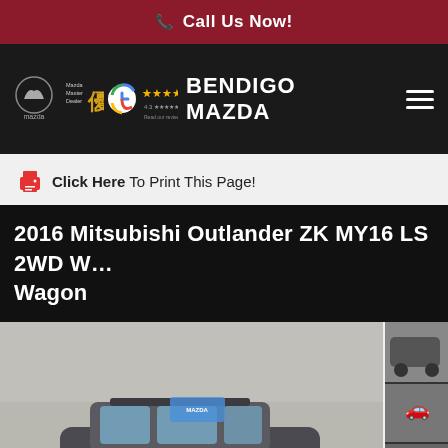📞 Call Us Now!
[Figure (logo): Bendigo Mazda dealership navigation bar with Mazda logo, Mazda Master Dealer award logo, Google rating stars (4.3), BENDIGO MAZDA text, and hamburger menu icon on dark background]
Click Here To Print This Page!
2016 Mitsubishi Outlander ZK MY16 LS 2WD Wagon
[Figure (photo): 2016 Mitsubishi Outlander ZK MY16 LS 2WD Wagon - main large photo showing the SUV from a side/front angle parked in a concrete garage area. Thumbnail images visible on the right side.]